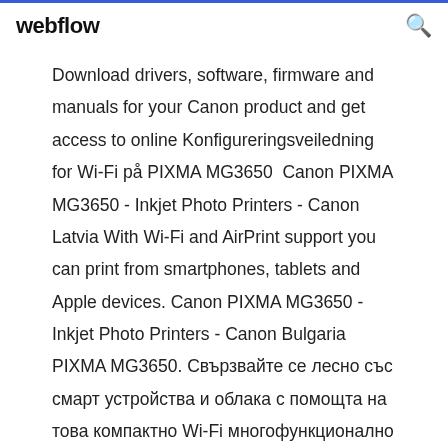webflow
Download drivers, software, firmware and manuals for your Canon product and get access to online Konfigureringsveiledning for Wi-Fi på PIXMA MG3650  Canon PIXMA MG3650 - Inkjet Photo Printers - Canon Latvia With Wi-Fi and AirPrint support you can print from smartphones, tablets and Apple devices. Canon PIXMA MG3650 - Inkjet Photo Printers - Canon Bulgaria PIXMA MG3650. Свързвайте се лесно със смарт устройства и облака с помощта на това компактно Wi-Fi многофункционално устройство. Насладете се